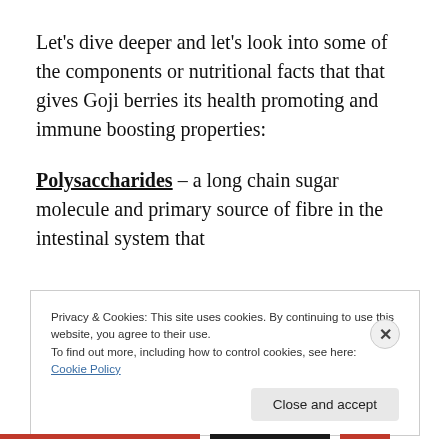Let's dive deeper and let's look into some of the components or nutritional facts that that gives Goji berries its health promoting and immune boosting properties:
Polysaccharides – a long chain sugar molecule and primary source of fibre in the intestinal system that
Privacy & Cookies: This site uses cookies. By continuing to use this website, you agree to their use.
To find out more, including how to control cookies, see here:
Cookie Policy